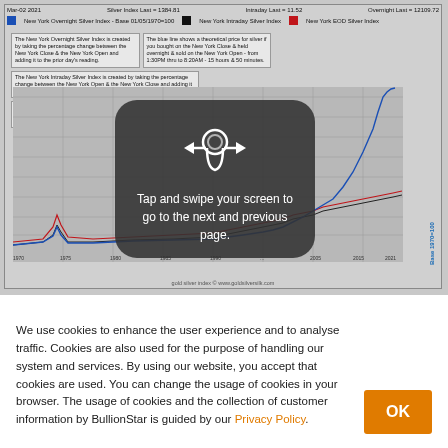[Figure (continuous-plot): New York Silver Index long-term chart from 1970 to 2021. Shows three lines: blue (New York Overnight Silver Index, Base 01/05/1970=100), black (New York Intraday Silver Index), and red (New York EOD Silver Index). Y-axis labeled 'Base 1970=100' on right side ranging from 500 to 190000. X-axis shows years from 1970 to 2021. Header shows Mar-02 2021, Silver Index Last = 1384.81, Intraday Last = 11.52, Overnight Last = 12109.72. Overlaid with a dark semi-transparent modal showing a swipe gesture icon and text 'Tap and swipe your screen to go to the next and previous page.']
We use cookies to enhance the user experience and to analyse traffic. Cookies are also used for the purpose of handling our system and services. By using our website, you accept that cookies are used. You can change the usage of cookies in your browser. The usage of cookies and the collection of customer information by BullionStar is guided by our Privacy Policy.